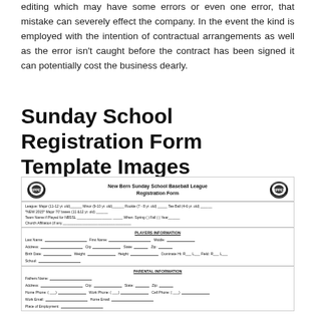editing which may have some errors or even one error, that mistake can severely effect the company. In the event the kind is employed with the intention of contractual arrangements as well as the error isn't caught before the contract has been signed it can potentially cost the business dearly.
Sunday School Registration Form Template Images
[Figure (other): Image of a Sunday School Baseball League Registration Form from New Bern, featuring sections for player information, parental information, and volunteer options.]